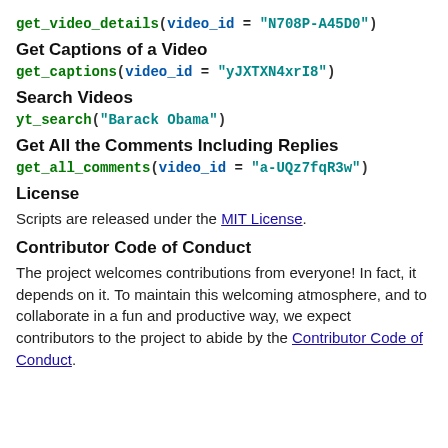get_video_details(video_id = "N708P-A45D0")
Get Captions of a Video
get_captions(video_id = "yJXTXN4xrI8")
Search Videos
yt_search("Barack Obama")
Get All the Comments Including Replies
get_all_comments(video_id = "a-UQz7fqR3w")
License
Scripts are released under the MIT License.
Contributor Code of Conduct
The project welcomes contributions from everyone! In fact, it depends on it. To maintain this welcoming atmosphere, and to collaborate in a fun and productive way, we expect contributors to the project to abide by the Contributor Code of Conduct.